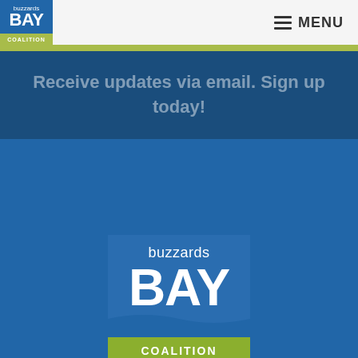[Figure (logo): Buzzards Bay Coalition small logo in header — blue square with 'buzzards BAY COALITION' text in white]
MENU
Receive updates via email. Sign up today!
[Figure (logo): Buzzards Bay Coalition large logo centered on blue background — blue square with 'buzzards BAY COALITION' text in white and green bar at bottom]